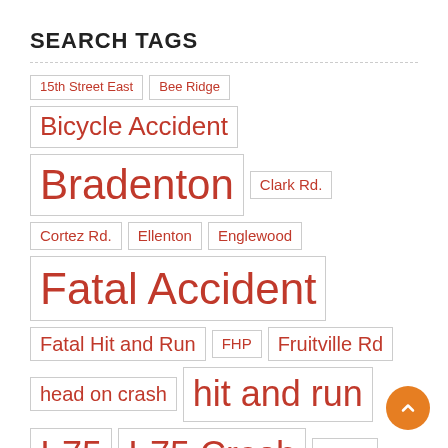SEARCH TAGS
15th Street East
Bee Ridge
Bicycle Accident
Bradenton
Clark Rd.
Cortez Rd.
Ellenton
Englewood
Fatal Accident
Fatal Hit and Run
FHP
Fruitville Rd
head on crash
hit and run
I-75
I-75 Crash
I-275
Jacaranda Boulevard
Lakewood Ranch
Manatee County
McCall Rd
motorcycle
Motorcycle Accident
North Port
Palmetto
pedestrian
pedestrian accident
Port Charlotte